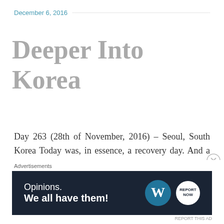December 6, 2016
Deeper Into Korea
Day 263 (28th of November, 2016) – Seoul, South Korea Today was, in essence, a recovery day. And a much needed one at that. We knew this going into the day and planned it accordingly. There were a few key things we wanted to get done – booking bus tickets for the rest of the trip, [...]
Advertisements
[Figure (other): Advertisement banner: dark navy background with text 'Opinions. We all have them!' and WordPress logo plus a circular report logo on the right.]